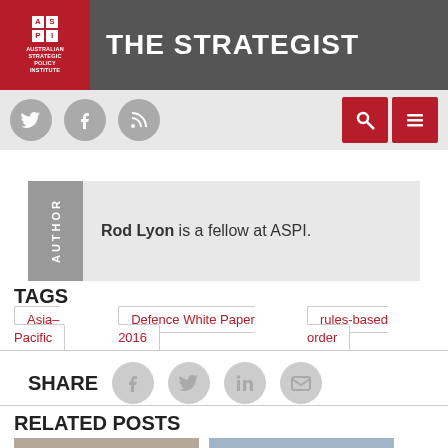THE STRATEGIST
Rod Lyon is a fellow at ASPI.
TAGS
Asia–Pacific
Defence White Paper 2016
rules-based order
SHARE
RELATED POSTS